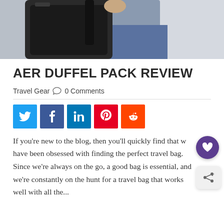[Figure (photo): Person wearing a black backpack/duffel bag over shoulder, partial torso view, white background]
AER DUFFEL PACK REVIEW
Travel Gear  0 Comments
[Figure (infographic): Social share buttons: Twitter (blue), Facebook (dark blue), LinkedIn (blue), Pinterest (red), Reddit (orange-red)]
If you're new to the blog, then you'll quickly find that we have been obsessed with finding the perfect travel bag. Since we're always on the go, a good bag is essential, and we're constantly on the hunt for a travel bag that works well with all the...